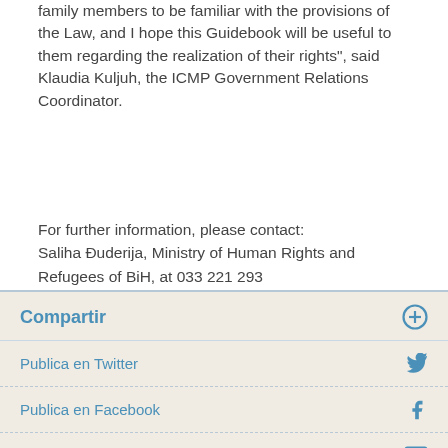family members to be familiar with the provisions of the Law, and I hope this Guidebook will be useful to them regarding the realization of their rights", said Klaudia Kuljuh, the ICMP Government Relations Coordinator.
For further information, please contact:
Saliha Đuderija, Ministry of Human Rights and Refugees of BiH, at 033 221 293
Sanela Bajrambašić, ICRC, at 033 721 780 or 061 102 278
Vedran Peršić, ICMP, at 033 280 800, 061 225 239
Compartir
Publica en Twitter
Publica en Facebook
Correo electrónico